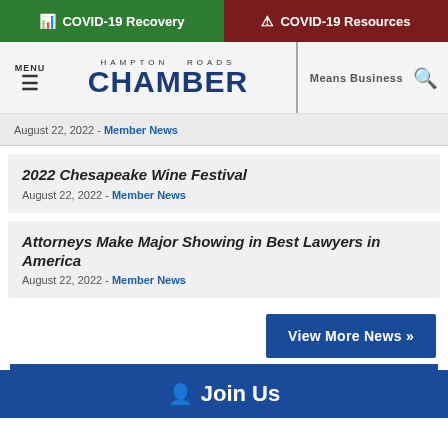COVID-19 Recovery | COVID-19 Resources
[Figure (screenshot): Hampton Roads Chamber navigation header with menu icon, logo, Means Business tagline, and search icon]
August 22, 2022 - Member News
2022 Chesapeake Wine Festival
August 22, 2022 - Member News
Attorneys Make Major Showing in Best Lawyers in America
August 22, 2022 - Member News
View More News »
Join Us